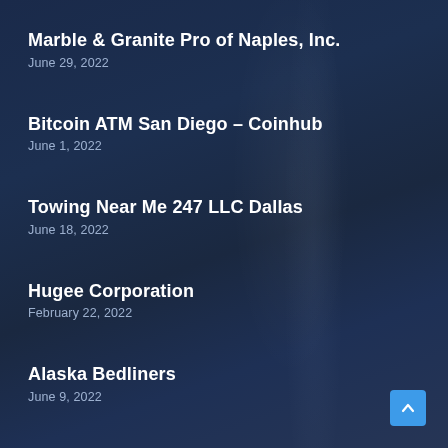Marble & Granite Pro of Naples, Inc.
June 29, 2022
Bitcoin ATM San Diego – Coinhub
June 1, 2022
Towing Near Me 247 LLC Dallas
June 18, 2022
Hugee Corporation
February 22, 2022
Alaska Bedliners
June 9, 2022